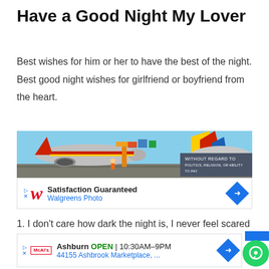Have a Good Night My Lover
Best wishes for him or her to have the best of the night. Best good night wishes for girlfriend or boyfriend from the heart.
[Figure (infographic): Advertisement banner with airplane loading cargo and 'Without Regard To' text overlay, followed by Walgreens Photo ad with 'Satisfaction Guaranteed' and navigation diamond.]
1. I don't care how dark the night is, I never feel scared as long as you give me a kiss. Good night, dearie.
[Figure (infographic): Advertisement for McAlister's Deli in Ashburn, OPEN 10:30AM-9PM, 44155 Ashbrook Marketplace, with navigation diamond and green chat circle.]